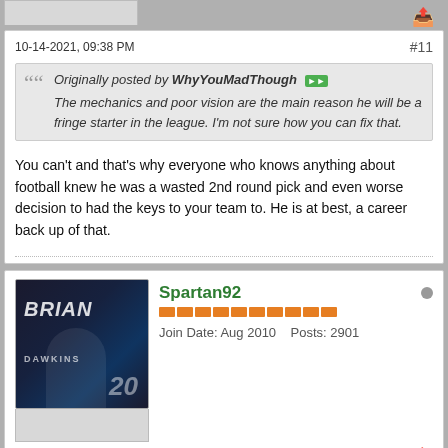10-14-2021, 09:38 PM
#11
Originally posted by WhyYouMadThough
The mechanics and poor vision are the main reason he will be a fringe starter in the league. I'm not sure how you can fix that.
You can't and that's why everyone who knows anything about football knew he was a wasted 2nd round pick and even worse decision to had the keys to your team to. He is at best, a career back up of that.
Spartan92
Join Date: Aug 2010    Posts: 2901